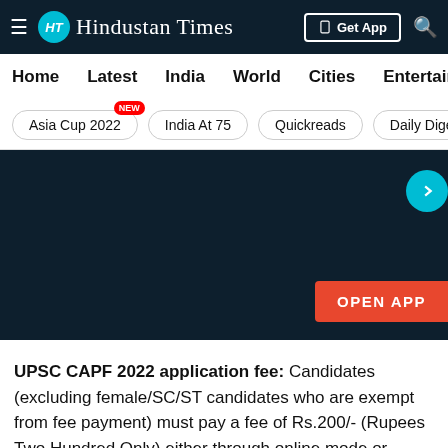Hindustan Times
[Figure (screenshot): Hindustan Times website navigation bar with logo, Get App button, and search icon on dark background]
Home | Latest | India | World | Cities | Entertainment
Asia Cup 2022 NEW | India At 75 | Quickreads | Daily Dige
[Figure (screenshot): Dark banner with a forward arrow button and OPEN APP button]
UPSC CAPF 2022 application fee: Candidates (excluding female/SC/ST candidates who are exempt from fee payment) must pay a fee of Rs.200/- (Rupees Two Hundred Only) either through online mode or through Remit Money Bank challan